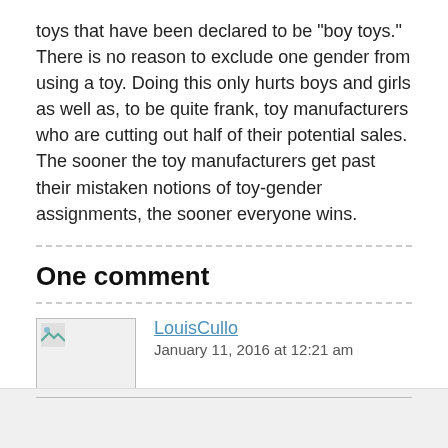toys that have been declared to be "boy toys." There is no reason to exclude one gender from using a toy. Doing this only hurts boys and girls as well as, to be quite frank, toy manufacturers who are cutting out half of their potential sales. The sooner the toy manufacturers get past their mistaken notions of toy-gender assignments, the sooner everyone wins.
One comment
LouisCullo
January 11, 2016 at 12:21 am
RT @TechyDad: Girls Toys, Boys Toys, and Missing Rey https://t.co/LX4uKJtJBv